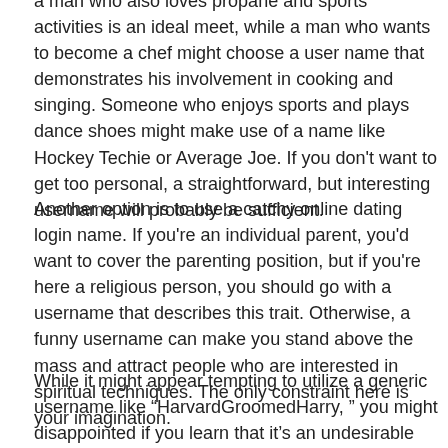a man who also loves propane and sports activities is an ideal meet, while a man who wants to become a chef might choose a user name that demonstrates his involvement in cooking and singing. Someone who enjoys sports and plays dance shoes might make use of a name like Hockey Techie or Average Joe. If you don't want to get too personal, a straightforward, but interesting username will probably be sufficient.
Another option is to use a catchy online dating login name. If you're an individual parent, you'd want to cover the parenting position, but if you're here a religious person, you should go with a username that describes this trait. Otherwise, a funny username can make you stand above the mass and attract people who are interested in spiritual techniques. The only constraint here is your imagination.
While it might appear tempting to utilize a generic username like “HarvardGroomedHarry, ” you might disappointed if you learn that it's an undesirable choice. A generic username will advise your